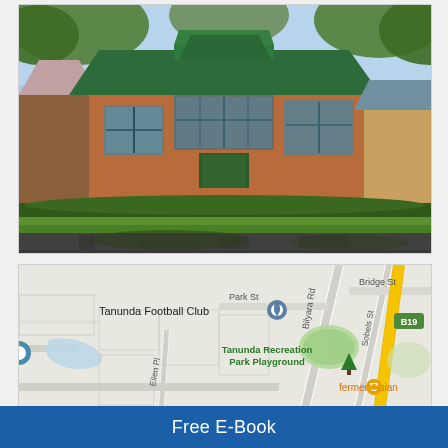[Figure (photo): Exterior photo of a brick bungalow-style house with green trim, green roof, large front lawn, garden beds, driveway, and trees overhead. Sunny day.]
[Figure (map): Google Maps screenshot showing Tanunda area with markers for Tanunda Football Club, Park St, Bilyara Rd, Bridge St, Sobels St, Ellen Pl, Tanunda Recreation Park Playground, fermentAsian restaurant, and B19 road sign.]
Free E-Book